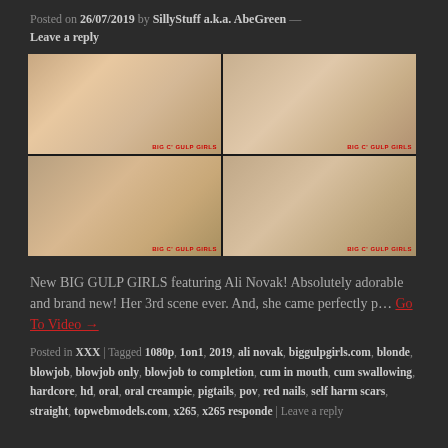Posted on 26/07/2019 by SillyStuff a.k.a. AbeGreen — Leave a reply
[Figure (photo): 2x2 grid of four video thumbnail images]
New BIG GULP GIRLS featuring Ali Novak! Absolutely adorable and brand new! Her 3rd scene ever. And, she came perfectly p… Go To Video →
Posted in XXX | Tagged 1080p, 1on1, 2019, ali novak, biggulpgirls.com, blonde, blowjob, blowjob only, blowjob to completion, cum in mouth, cum swallowing, hardcore, hd, oral, oral creampie, pigtails, pov, red nails, self harm scars, straight, topwebmodels.com, x265, x265 responde | Leave a reply